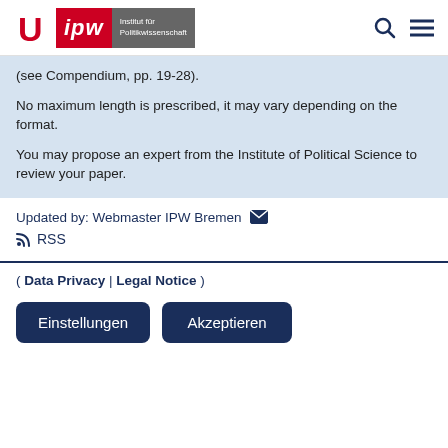[Figure (logo): University of Bremen and IPW Institut für Politikwissenschaft logo with search and menu icons]
(see Compendium, pp. 19-28).
No maximum length is prescribed, it may vary depending on the format.
You may propose an expert from the Institute of Political Science to review your paper.
Updated by: Webmaster IPW Bremen ✉
🔔 RSS
( Data Privacy | Legal Notice )
Einstellungen   Akzeptieren